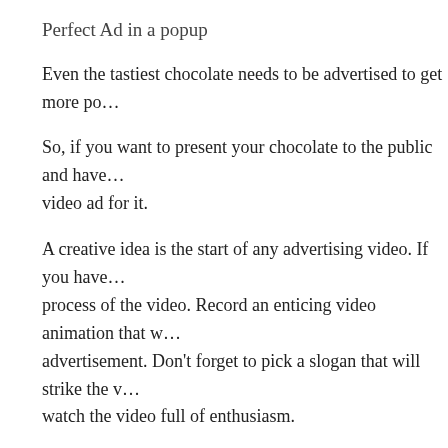Perfect Ad in a popup
Even the tastiest chocolate needs to be advertised to get more po…
So, if you want to present your chocolate to the public and have… video ad for it.
A creative idea is the start of any advertising video. If you have… process of the video. Record an enticing video animation that w… advertisement. Don't forget to pick a slogan that will strike the v… watch the video full of enthusiasm.
Posted in Uncategorized | Comments Off
3 Excellent Ways to Make Money Online
One of the wonderful things about the word wide web is that it's… business for yourself. No matter where you are located, as long…